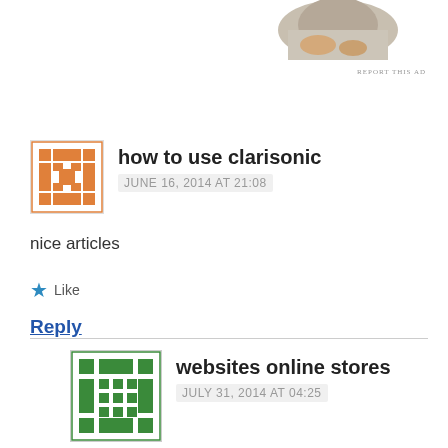[Figure (photo): Partial photo of person at top right, with 'REPORT THIS AD' text below]
REPORT THIS AD
how to use clarisonic
JUNE 16, 2014 AT 21:08
nice articles
★ Like
Reply
websites online stores
JULY 31, 2014 AT 04:25
Greetings! Very useful advice in this particular post!
It is the little changes that produce the largest